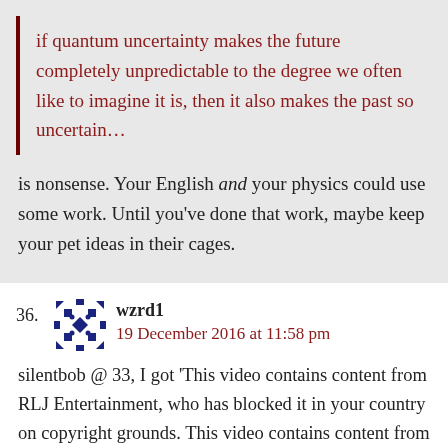if quantum uncertainty makes the future completely unpredictable to the degree we often like to imagine it is, then it also makes the past so uncertain…
is nonsense. Your English and your physics could use some work. Until you've done that work, maybe keep your pet ideas in their cages.
36. wzrd1
19 December 2016 at 11:58 pm
silentbob @ 33, I got 'This video contains content from RLJ Entertainment, who has blocked it in your country on copyright grounds. This video contains content from RLJ Entertainment, who has blocked it in your country